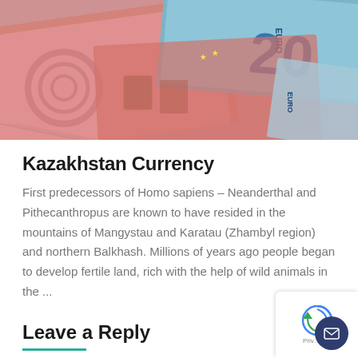[Figure (photo): Close-up photo of Euro banknotes (20 euro and 10 euro notes) spread out, showing pink and blue notes with the word EURO visible]
Kazakhstan Currency
First predecessors of Homo sapiens – Neanderthal and Pithecanthropus are known to have resided in the mountains of Mangystau and Karatau (Zhambyl region) and northern Balkhash. Millions of years ago people began to develop fertile land, rich with the help of wild animals in the ...
Leave a Reply
Your email address will not be published. Required fields are marked *